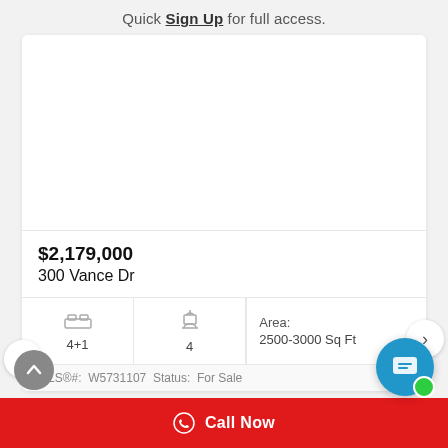Quick Sign Up for full access.
[Figure (photo): Blurred/hidden property photo placeholder (white area)]
$2,179,000
300 Vance Dr
4+1
4
Area: 2500-3000 Sq Ft
MLS®#: W5731107 Status: For Sale